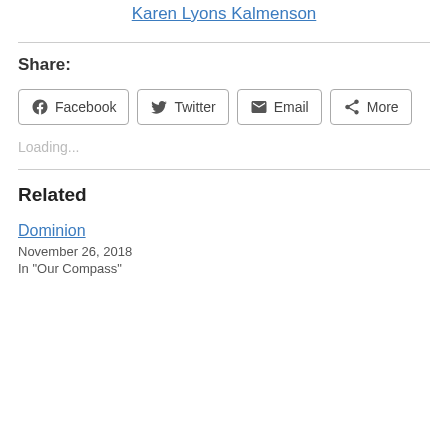Karen Lyons Kalmenson
Share:
Facebook  Twitter  Email  More
Loading...
Related
Dominion
November 26, 2018
In "Our Compass"